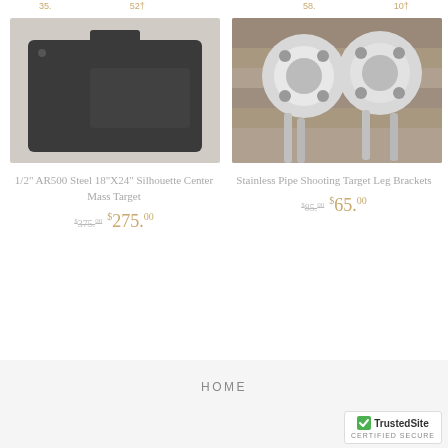[Figure (photo): Dark steel square/silhouette shooting target plate on a light surface]
1/2" AR500 Steel 18"X24" Silhouette Center Mass Target
$375.00  $275.00
[Figure (photo): Two stainless pipe flanges with bolts, used as shooting target leg brackets, on a wood surface]
Stainless Pipe Shooting Target Leg Brackets
$85.00  $65.00
HOME